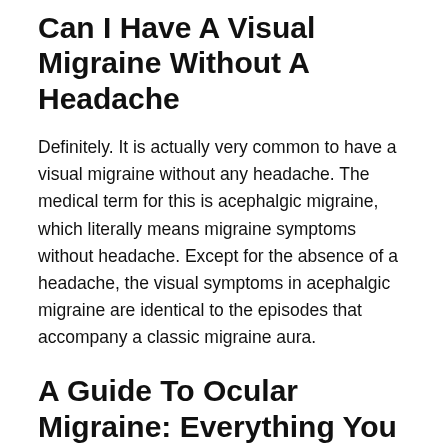Can I Have A Visual Migraine Without A Headache
Definitely. It is actually very common to have a visual migraine without any headache. The medical term for this is acephalgic migraine, which literally means migraine symptoms without headache. Except for the absence of a headache, the visual symptoms in acephalgic migraine are identical to the episodes that accompany a classic migraine aura.
A Guide To Ocular Migraine: Everything You Need To Know
We have all experienced different types of headaches. Most adults get headaches now and then, but how do you know if